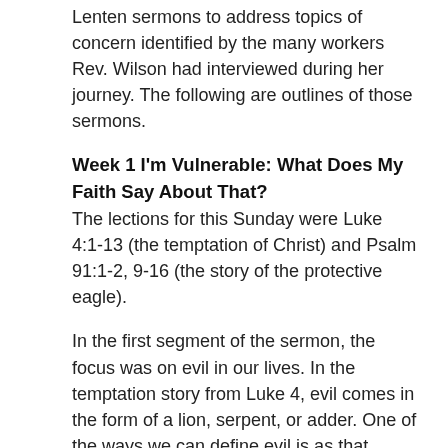Lenten sermons to address topics of concern identified by the many workers Rev. Wilson had interviewed during her journey. The following are outlines of those sermons.
Week 1 I'm Vulnerable: What Does My Faith Say About That?
The lections for this Sunday were Luke 4:1-13 (the temptation of Christ) and Psalm 91:1-2, 9-16 (the story of the protective eagle).
In the first segment of the sermon, the focus was on evil in our lives. In the temptation story from Luke 4, evil comes in the form of a lion, serpent, or adder. One of the ways we can define evil is as that which causes us to feel vulnerable or out of control. (Feelings of helplessness can originate in corporate downsizing for workers, academic assessments for teens, and credit card debt for families.) The story of the temptation provides a good homiletic base from which to explore